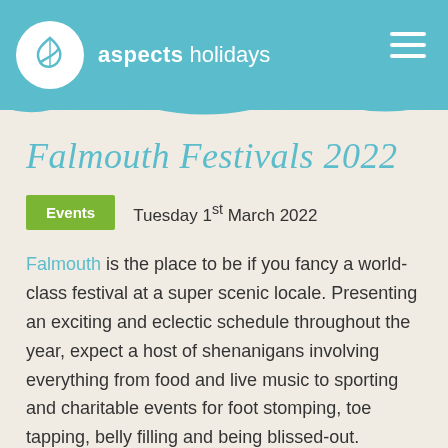aspects holidays
Falmouth Festivals 2022
Events   Tuesday 1st March 2022
Falmouth is the place to be if you fancy a world-class festival at a super scenic locale. Presenting an exciting and eclectic schedule throughout the year, expect a host of shenanigans involving everything from food and live music to sporting and charitable events for foot stomping, toe tapping, belly filling and being blissed-out.